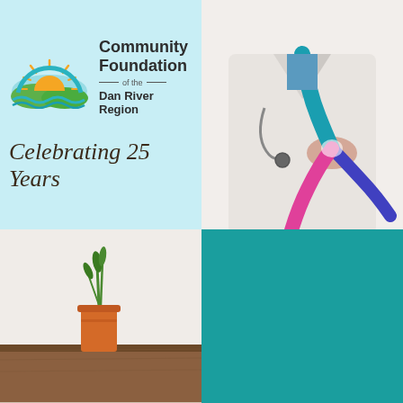[Figure (logo): Community Foundation of the Dan River Region logo with sun/water imagery and 'Celebrating 25 Years' script text on light blue background]
[Figure (photo): Doctor in white coat holding pink and blue/teal awareness ribbons]
[Figure (photo): Nature/plant scene with orange vase on wooden surface]
[Figure (other): Solid teal/dark cyan colored block]